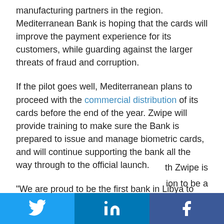manufacturing partners in the region. Mediterranean Bank is hoping that the cards will improve the payment experience for its customers, while guarding against the larger threats of fraud and corruption.
If the pilot goes well, Mediterranean plans to proceed with the commercial distribution of its cards before the end of the year. Zwipe will provide training to make sure the Bank is prepared to issue and manage biometric cards, and will continue supporting the bank all the way through to the official launch.
“We are proud to be the first bank in Libya to introduce this world-class innovation,” said Mediterranean Bank CIO Ahmed Nafo. “We want to ensure that our customers are well protected when using payment cards and enjoy th Zwipe is ion to be a
[Figure (infographic): Social media share bar with Twitter, LinkedIn, and Facebook buttons at the bottom of the page]